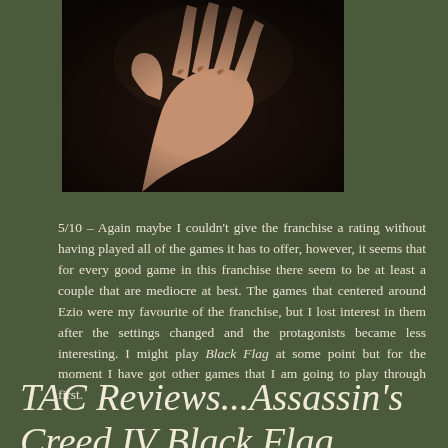[Figure (photo): Close-up photo of a hand against a dark background, partially visible at top of page]
5/10 – Again maybe I couldn't give the franchise a rating without having played all of the games it has to offer, however, it seems that for every good game in this franchise there seem to be at least a couple that are mediocre at best. The games that centered around Ezio were my favourite of the franchise, but I lost interest in them after the settings changed and the protagonists became less interesting. I might play Black Flag at some point but for the moment I have got other games that I am going to play through first.
TAC Reviews...Assassin's Creed IV Black Flag